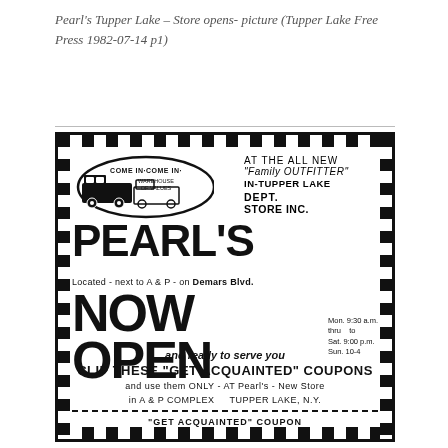Pearl's Tupper Lake – Store opens- picture (Tupper Lake Free Press 1982-07-14 p1)
[Figure (illustration): Black and white newspaper advertisement for Pearl's Department Store Inc. in Tupper Lake, NY. Features a truck/tractor logo with 'Come In-Come In' text, large bold 'PEARL'S' name, 'DEPT. STORE INC.', 'NOW OPEN' in large text, hours (Mon. 9:30 a.m. thru to Sat. 9:00 p.m. Sun. 10-4), 'and ready to serve you', 'CLIP THESE GET ACQUAINTED COUPONS', location info 'next to A & P on Demars Blvd.' and 'in A & P COMPLEX TUPPER LAKE, N.Y.' with checkerboard border.]